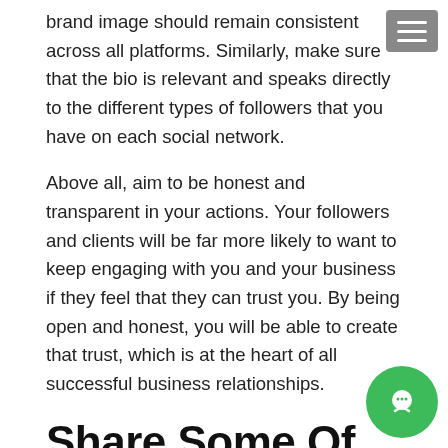brand image should remain consistent across all platforms. Similarly, make sure that the bio is relevant and speaks directly to the different types of followers that you have on each social network.
Above all, aim to be honest and transparent in your actions. Your followers and clients will be far more likely to want to keep engaging with you and your business if they feel that they can trust you. By being open and honest, you will be able to create that trust, which is at the heart of all successful business relationships.
Share Some Of Your Personality
As well as establishing your business, you also need to connect with your audience on a more personal level.